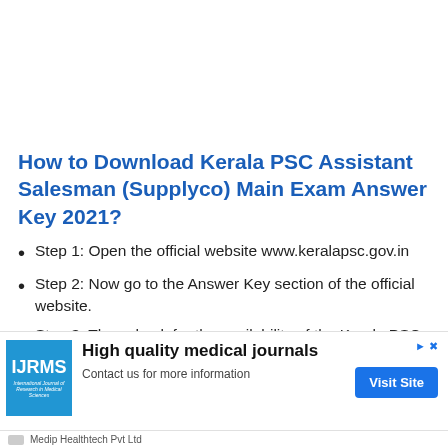How to Download Kerala PSC Assistant Salesman (Supplyco) Main Exam Answer Key 2021?
Step 1: Open the official website www.keralapsc.gov.in
Step 2: Now go to the Answer Key section of the official website.
Step 3: Then check for the availability of the Kerala PSC istant Salesman (Supplyco) Main Exam Answer Key 1
[Figure (infographic): Advertisement banner for IJRMS (International Journal of Research in Medical Sciences) by Medip Healthtech Pvt Ltd promoting high quality medical journals with a Visit Site button]